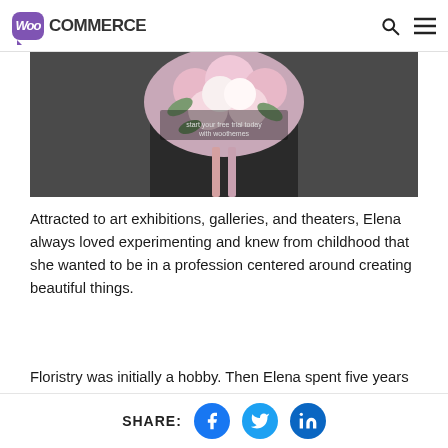WooCommerce
[Figure (photo): Person holding a large floral bouquet with pink and white flowers against a dark background]
Attracted to art exhibitions, galleries, and theaters, Elena always loved experimenting and knew from childhood that she wanted to be in a profession centered around creating beautiful things.
Floristry was initially a hobby. Then Elena spent five years working for local florists where she
SHARE: [Facebook] [Twitter] [LinkedIn]